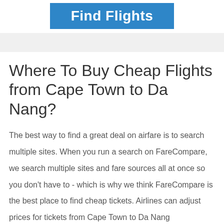[Figure (other): Blue banner button with white text reading 'Find Flights']
Where To Buy Cheap Flights from Cape Town to Da Nang?
The best way to find a great deal on airfare is to search multiple sites. When you run a search on FareCompare, we search multiple sites and fare sources all at once so you don't have to - which is why we think FareCompare is the best place to find cheap tickets. Airlines can adjust prices for tickets from Cape Town to Da Nang based on the day and time that you...